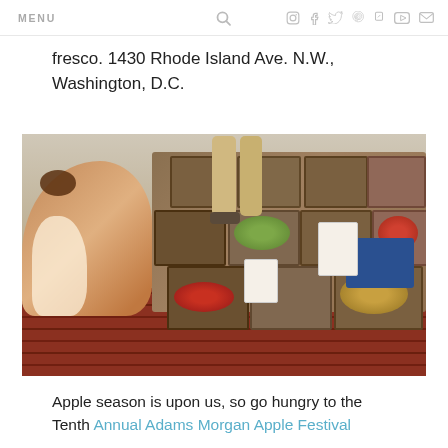MENU [search icon] [instagram] [facebook] [twitter] [pinterest] [foursquare] [youtube] [mail]
fresco. 1430 Rhode Island Ave. N.W., Washington, D.C.
[Figure (photo): A dog standing next to multiple wooden apple crates filled with various apple varieties at an outdoor farmers market on a brick sidewalk. People visible in the background.]
Apple season is upon us, so go hungry to the Tenth Annual Adams Morgan Apple Festival